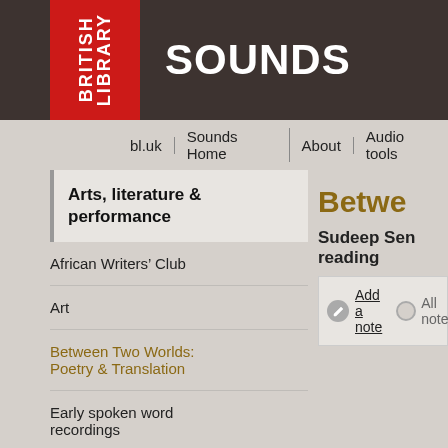BRITISH LIBRARY SOUNDS
bl.uk | Sounds Home | About | Audio tools
Arts, literature & performance
African Writers' Club
Art
Between Two Worlds: Poetry & Translation
Early spoken word recordings
ICA talks
Photography
St Mary-le-Bow public
Betwe
Sudeep Sen reading
Add a note   All note